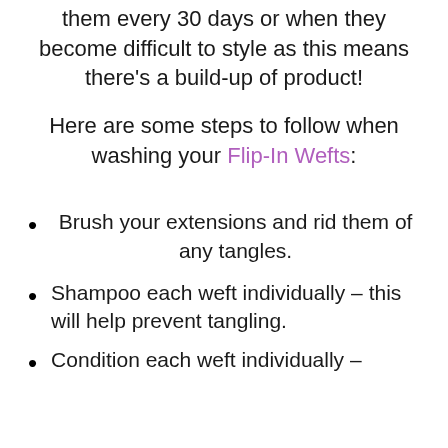them every 30 days or when they become difficult to style as this means there's a build-up of product!
Here are some steps to follow when washing your Flip-In Wefts:
Brush your extensions and rid them of any tangles.
Shampoo each weft individually – this will help prevent tangling.
Condition each weft individually –